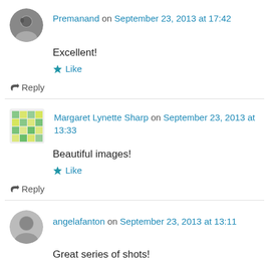Premanand on September 23, 2013 at 17:42
Excellent!
Like
Reply
Margaret Lynette Sharp on September 23, 2013 at 13:33
Beautiful images!
Like
Reply
angelafanton on September 23, 2013 at 13:11
Great series of shots!